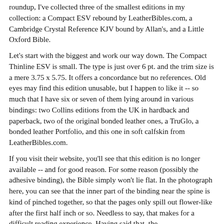roundup, I've collected three of the smallest editions in my collection: a Compact ESV rebound by LeatherBibles.com, a Cambridge Crystal Reference KJV bound by Allan's, and a Little Oxford Bible.
Let's start with the biggest and work our way down. The Compact Thinline ESV is small. The type is just over 6 pt. and the trim size is a mere 3.75 x 5.75. It offers a concordance but no references. Old eyes may find this edition unusable, but I happen to like it -- so much that I have six or seven of them lying around in various bindings: two Collins editions from the UK in hardback and paperback, two of the original bonded leather ones, a TruGlo, a bonded leather Portfolio, and this one in soft calfskin from LeatherBibles.com.
If you visit their website, you'll see that this edition is no longer available -- and for good reason. For some reason (possibly the adhesive binding), the Bible simply won't lie flat. In the photograph here, you can see that the inner part of the binding near the spine is kind of pinched together, so that the pages only spill out flower-like after the first half inch or so. Needless to say, that makes for a difficult reading experience. Having said that, the